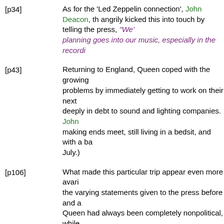[p34] As for the 'Led Zeppelin connection', John Deacon, th... angrily kicked this into touch by telling the press, "We' planning goes into our music, especially in the recordi...
[p43] Returning to England, Queen coped with the growing problems by immediately getting to work on their next deeply in debt to sound and lighting companies. John making ends meet, still living in a bedsit, and with a ba... July.)
[p106] What made this particular trip appear even more avari... the varying statements given to the press before and a... Queen had always been completely nonpolitical, while... totally against apartheid and all it stands for." (NOTE : reverse order. I think it was John who would usually sa...
[p126] For Queen the remaining months of 1986 passed quie... John Deacon, committed to respective solo projects, v... their private lives - May becoming involved with 'Easte... be recovering from what appears to have been a nerv...
[p148]